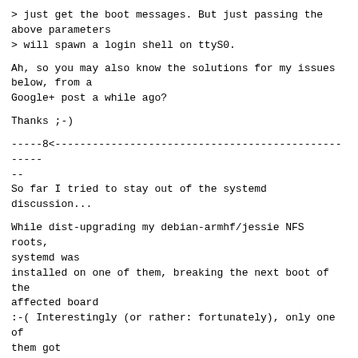> just get the boot messages. But just passing the
above parameters
> will spawn a login shell on ttyS0.
Ah, so you may also know the solutions for my issues
below, from a
Google+ post a while ago?
Thanks ;-)
-----8<---------------------------------------------------
--
So far I tried to stay out of the systemd discussion...
While dist-upgrading my debian-armhf/jessie NFS roots,
systemd was
installed on one of them, breaking the next boot of the
affected board
:-( Interestingly (or rather: fortunately), only one of
them got
systemd, the others are still alive and kicking with
sysvinit-core.
Failure 1:
systemd[1]: Failed to mount tmpfs at /sys/fs/cgroup: No
such file or directory
Ah, let's enable CONFIG_CGROUPS in the kernel.
Failure 2: